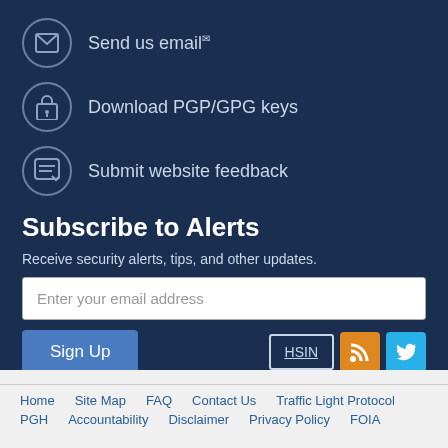Send us email
Download PGP/GPG keys
Submit website feedback
Subscribe to Alerts
Receive security alerts, tips, and other updates.
Enter your email address
Sign Up
HSIN
Report
Home   Site Map   FAQ   Contact Us   Traffic Light Protocol   PGH   Accountability   Disclaimer   Privacy Policy   FOIA